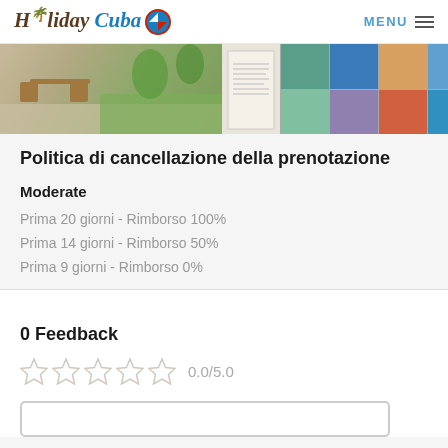Holiday Cuba — MENU
[Figure (photo): Strip of hotel/resort photos showing outdoor patio furniture and garden on the left, and a grid of smaller photos on the right including pool, beach, architecture, and water sports.]
Politica di cancellazione della prenotazione
Moderate
Prima 20 giorni - Rimborso 100%
Prima 14 giorni - Rimborso 50%
Prima 9 giorni - Rimborso 0%
0 Feedback
0.0/5.0